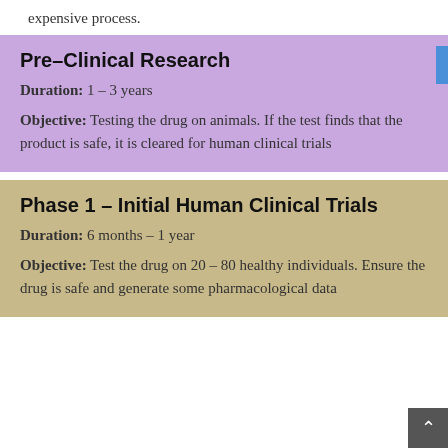expensive process.
Pre-Clinical Research
Duration: 1 – 3 years
Objective: Testing the drug on animals. If the test finds that the product is safe, it is cleared for human clinical trials
Phase 1 – Initial Human Clinical Trials
Duration: 6 months – 1 year
Objective: Test the drug on 20 – 80 healthy individuals. Ensure the drug is safe and generate some pharmacological data